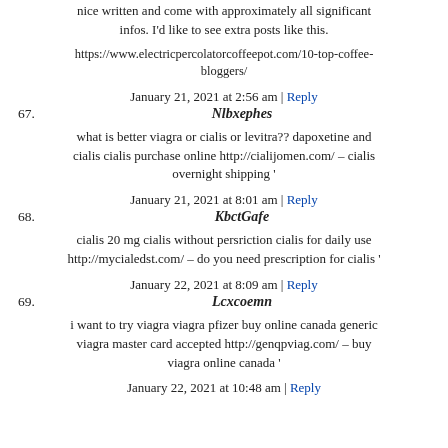nice written and come with approximately all significant infos. I'd like to see extra posts like this.
https://www.electricpercolatorcoffeepot.com/10-top-coffee-bloggers/
January 21, 2021 at 2:56 am | Reply
67. Nlbxephes
what is better viagra or cialis or levitra?? dapoxetine and cialis cialis purchase online http://cialijomen.com/ – cialis overnight shipping '
January 21, 2021 at 8:01 am | Reply
68. KbctGafe
cialis 20 mg cialis without persriction cialis for daily use http://mycialedst.com/ – do you need prescription for cialis '
January 22, 2021 at 8:09 am | Reply
69. Lcxcoemn
i want to try viagra viagra pfizer buy online canada generic viagra master card accepted http://genqpviag.com/ – buy viagra online canada '
January 22, 2021 at 10:48 am | Reply